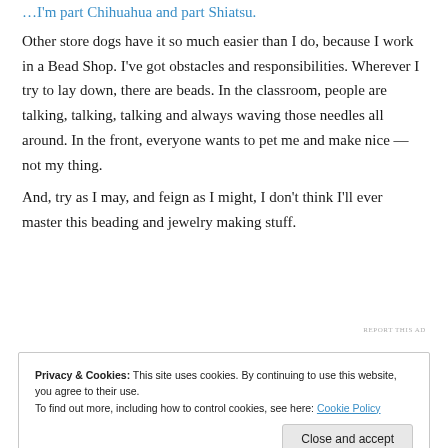… I'm part Chihuahua and part Shiatsu.
Other store dogs have it so much easier than I do, because I work in a Bead Shop. I've got obstacles and responsibilities. Wherever I try to lay down, there are beads. In the classroom, people are talking, talking, talking and always waving those needles all around. In the front, everyone wants to pet me and make nice — not my thing.
And, try as I may, and feign as I might, I don't think I'll ever master this beading and jewelry making stuff.
REPORT THIS AD
Privacy & Cookies: This site uses cookies. By continuing to use this website, you agree to their use.
To find out more, including how to control cookies, see here: Cookie Policy
Close and accept